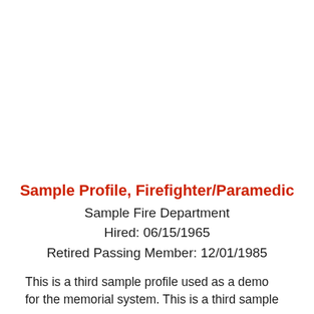Sample Profile, Firefighter/Paramedic
Sample Fire Department
Hired: 06/15/1965
Retired Passing Member: 12/01/1985
This is a third sample profile used as a demo for the memorial system. This is a third sample